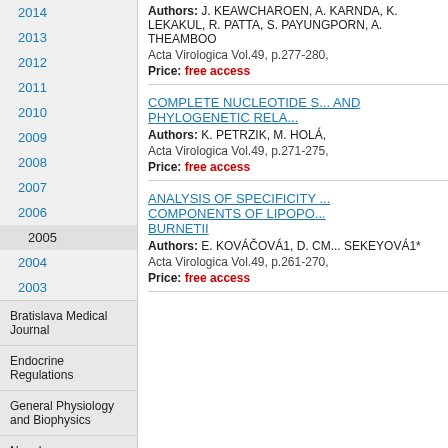2014
2013
2012
2011
2010
2009
2008
2007
2006
2005
2004
2003
Bratislava Medical Journal
Endocrine Regulations
General Physiology and Biophysics
Neoplasma
Studia Psychologica
Cardiology Letters
Psychológia a patopsych. dieťaťa
Authors: J. KEAWCHAROEN, A. KARNDA, K. LEKAKUL, R. PATTA, S. PAYUNGPORN, A. THEAMBOO
Acta Virologica Vol.49, p.277-280,
Price: free access
COMPLETE NUCLEOTIDE S... AND PHYLOGENETIC RELA...
Authors: K. PETRZIK, M. HOLÁ,
Acta Virologica Vol.49, p.271-275,
Price: free access
ANALYSIS OF SPECIFICITY ... COMPONENTS OF LIPOPO... BURNETII
Authors: E. KOVÁČOVÁ1, D. CM... SEKEYOVÁ1*
Acta Virologica Vol.49, p.261-270,
Price: free access